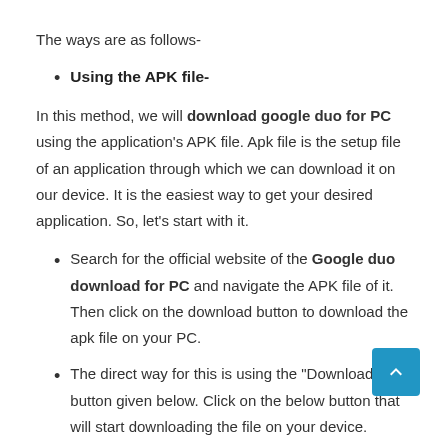The ways are as follows-
Using the APK file-
In this method, we will download google duo for PC using the application's APK file. Apk file is the setup file of an application through which we can download it on our device. It is the easiest way to get your desired application. So, let's start with it.
Search for the official website of the Google duo download for PC and navigate the APK file of it. Then click on the download button to download the apk file on your PC.
The direct way for this is using the "Download" button given below. Click on the below button that will start downloading the file on your device.
Now, wait for the file to be downloaded.